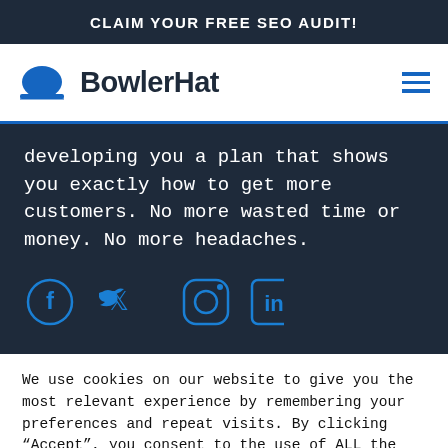CLAIM YOUR FREE SEO AUDIT!
[Figure (logo): BowlerHat logo with blue bowler hat icon and bold dark text 'BowlerHat']
developing you a plan that shows you exactly how to get more customers. No more wasted time or money. No more headaches.
[Figure (infographic): Social media icons: Facebook, Twitter, Instagram, LinkedIn in blue on dark background]
We use cookies on our website to give you the most relevant experience by remembering your preferences and repeat visits. By clicking “Accept”, you consent to the use of ALL the cookies.
Accept | Reject All | Read More